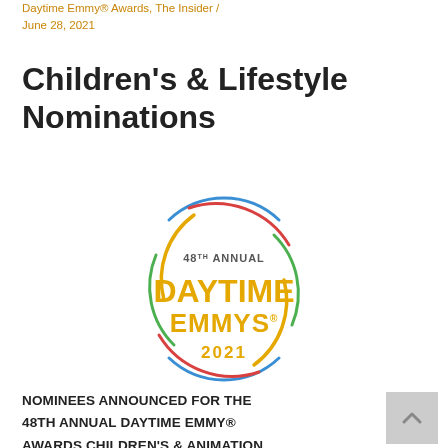Daytime Emmy® Awards, The Insider / June 28, 2021
Children's & Lifestyle Nominations
[Figure (logo): 48th Annual Daytime Emmys 2021 circular logo with colorful arcs in blue, red, and green, and gold text reading '48TH ANNUAL DAYTIME EMMYS 2021']
NOMINEES ANNOUNCED FOR THE 48TH ANNUAL DAYTIME EMMY® AWARDS CHILDREN'S & ANIMATION AND LIFESTYLE CATEGORIES NEW